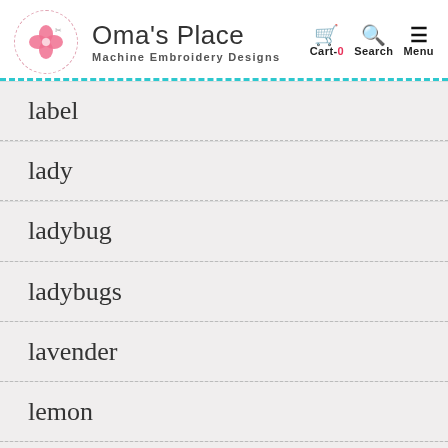Oma's Place — Machine Embroidery Designs
label
lady
ladybug
ladybugs
lavender
lemon
linens